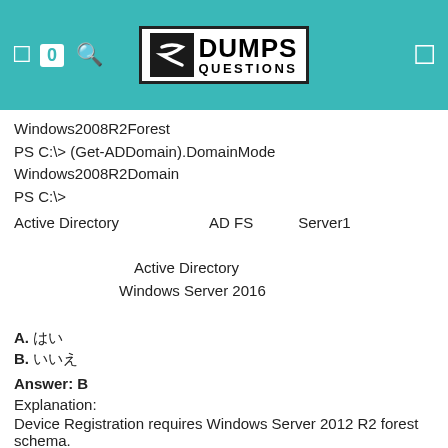DumpsQuestions
Windows2008R2Forest
PS C:\> (Get-ADDomain).DomainMode
Windows2008R2Domain
PS C:\>
Active Directory フォレストに AD FS を使用し Server1 に展開しようとしています。

次のことを確認します Active Directory の機能レベルを確認する

フォレストの機能レベルが Windows Server 2016 に引き上げられている

ことを確認してください
A. はい
B. いいえ
Answer: B
Explanation:
Device Registration requires Windows Server 2012 R2 forest schema.